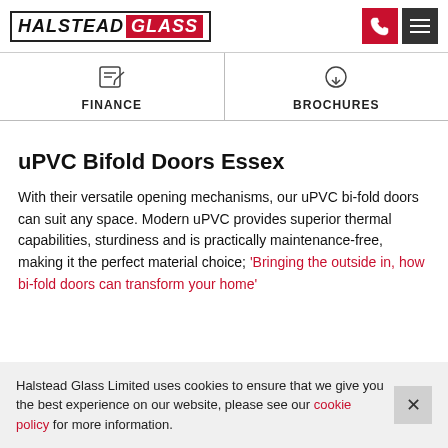HALSTEAD GLASS
FINANCE
BROCHURES
uPVC Bifold Doors Essex
With their versatile opening mechanisms, our uPVC bi-fold doors can suit any space. Modern uPVC provides superior thermal capabilities, sturdiness and is practically maintenance-free, making it the perfect material choice; ‘Bringing the outside in, how bi-fold doors can transform your home’
Halstead Glass Limited uses cookies to ensure that we give you the best experience on our website, please see our cookie policy for more information.